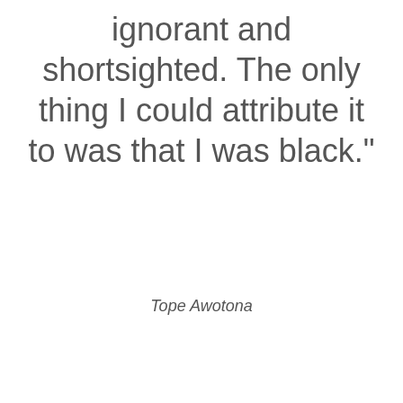ignorant and shortsighted. The only thing I could attribute it to was that I was black."
Tope Awotona